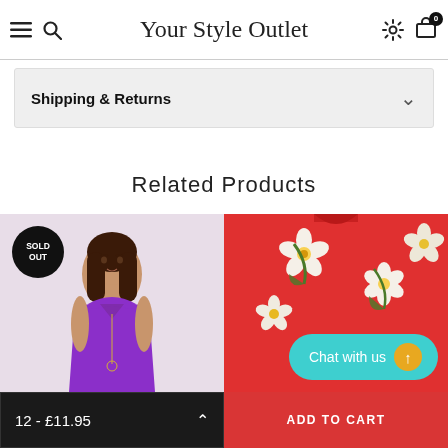Your Style Outlet
Shipping & Returns
Related Products
[Figure (photo): Woman in purple sleeveless top with sold out badge overlay]
[Figure (photo): Red floral print blouse/top]
Chat with us
12 - £11.95
ADD TO CART